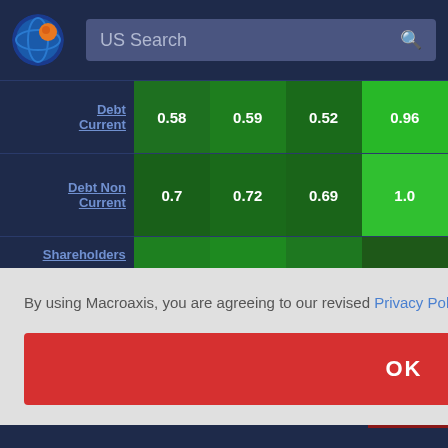[Figure (logo): Macroaxis logo: circular globe icon with orange and blue colors]
US Search
|  | Col1 | Col2 | Col3 | Col4 |
| --- | --- | --- | --- | --- |
| Debt Current | 0.58 | 0.59 | 0.52 | 0.96 |
| Debt Non Current | 0.7 | 0.72 | 0.69 | 1.0 |
| Shareholders | 0.76 | 0.78 | 0.74 | 0.83 |
|  |  |  |  | 0.97 |
|  |  |  |  | 1.0 |
By using Macroaxis, you are agreeing to our revised Privacy Policy
OK